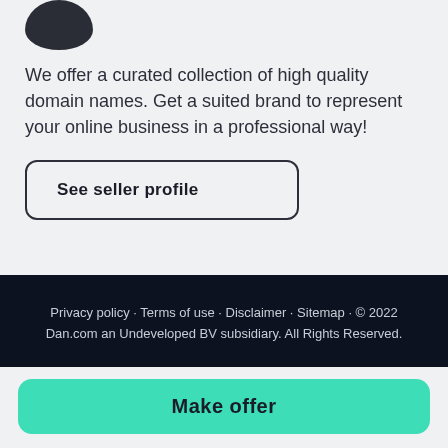[Figure (illustration): Partial view of a dark circular avatar/profile icon cropped at the top of the page]
We offer a curated collection of high quality domain names. Get a suited brand to represent your online business in a professional way!
See seller profile
Privacy policy · Terms of use · Disclaimer · Sitemap · © 2022 Dan.com an Undeveloped BV subsidiary. All Rights Reserved.
Make offer